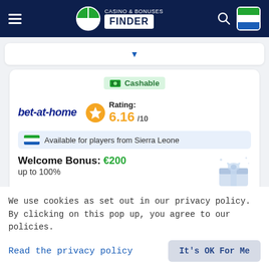[Figure (screenshot): Casino & Bonuses Finder website header with hamburger menu, logo, search icon, and Sierra Leone flag button on dark navy background]
[Figure (screenshot): Dropdown selector bar with blue triangle arrow]
Cashable
bet-at-home
Rating: 6.16/10
Available for players from Sierra Leone
Welcome Bonus: €200
up to 100%
We use cookies as set out in our privacy policy. By clicking on this pop up, you agree to our policies.
Read the privacy policy
It's OK For Me